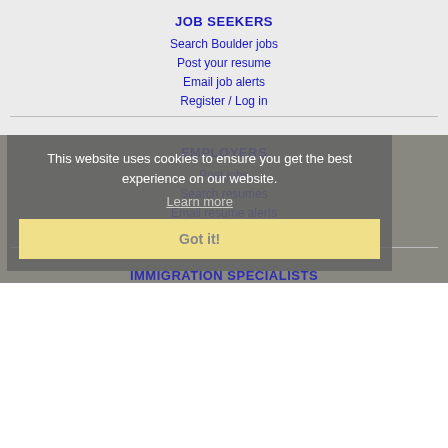JOB SEEKERS
Search Boulder jobs
Post your resume
Email job alerts
Register / Log in
EMPLOYERS
Post jobs
Search resumes
Email resume alerts
Advertise
This website uses cookies to ensure you get the best experience on our website.
Learn more
Got it!
IMMIGRATION SPECIALISTS